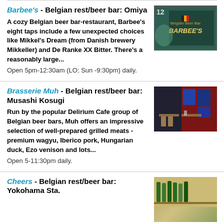Barbee's - Belgian rest/beer bar: Omiya
[Figure (photo): Exterior/sign of Barbee's Belgian Beer Bar with colorful graffiti-style art]
A cozy Belgian beer bar-restaurant, Barbee's eight taps include a few unexpected choices like Mikkel's Dream (from Danish brewery Mikkeller) and De Ranke XX Bitter. There's a reasonably large...
Open 5pm-12:30am (LO; Sun -9:30pm) daily.
Brasserie Muh - Belgian rest/beer bar: Musashi Kosugi
[Figure (photo): Interior of Brasserie Muh showing tables and decorative posters on dark walls]
Run by the popular Delirium Cafe group of Belgian beer bars, Muh offers an impressive selection of well-prepared grilled meats - premium wagyu, Iberico pork, Hungarian duck, Ezo venison and lots...
Open 5-11:30pm daily.
Cheers - Belgian rest/beer bar: Yokohama Sta.